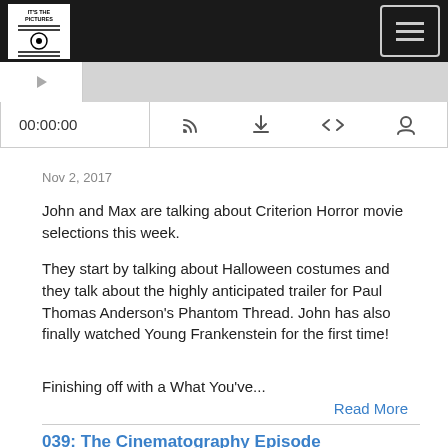IT'S THE PICTURES
[Figure (screenshot): Podcast audio player with progress bar and controls showing 00:00:00, RSS, download, embed, and share icons]
Nov 2, 2017
John and Max are talking about Criterion Horror movie selections this week.
They start by talking about Halloween costumes and they talk about the highly anticipated trailer for Paul Thomas Anderson's Phantom Thread. John has also finally watched Young Frankenstein for the first time!
Finishing off with a What You've...
Read More
039: The Cinematography Episode